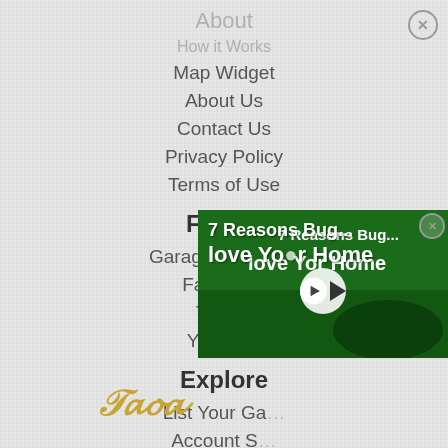About
How it Works
Map Widget
About Us
Contact Us
Privacy Policy
Terms of Use
Follow
Garage Sale Blog
Facebook
Twitter
YouTube
Explore
List Your Ga...
Account S...
Suppo...
Site M...
[Figure (screenshot): Video thumbnail overlay showing '7 Reasons Bugs love Your Home' with play button, partially covering the Explore section links. A close button is visible at top right of the video.]
[Figure (logo): Decorative script/cursive logo in gold color at bottom left, partially visible]